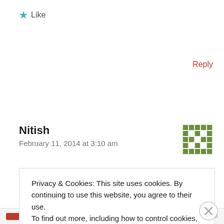★ Like
Reply
Nitish
February 11, 2014 at 3:10 am
[Figure (illustration): Green pixel/identicon avatar for user Nitish]
Thats wonderful !!! You've always been someone we could look upon as Inspiration. And this also shows that "Dont settle
Privacy & Cookies: This site uses cookies. By continuing to use this website, you agree to their use. To find out more, including how to control cookies, see here: Cookie Policy
Close and accept